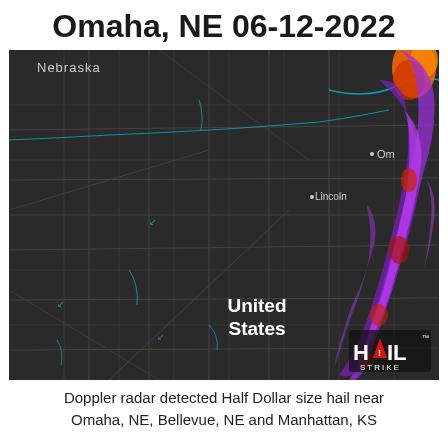Omaha, NE 06-12-2022
[Figure (map): Doppler radar hail map showing Nebraska and surrounding area with a storm track of purple/magenta hail swath running north-south along the eastern edge, near Omaha and Lincoln, NE. Dark background map with road/county lines in dark gray, rivers in cyan/teal, city labels for Nebraska, Omaha, and Lincoln visible. HailStrike logo in lower right corner.]
Doppler radar detected Half Dollar size hail near Omaha, NE, Bellevue, NE and Manhattan, KS